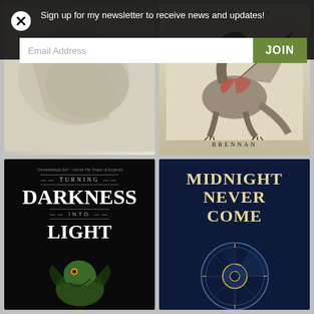Sign up for my newsletter to receive news and updates!
[Figure (screenshot): Newsletter signup overlay on a book author website showing an email input field and JOIN button]
[Figure (photo): Book cover: Driftwood by Marie Brennan - Where Worlds Go to Die]
[Figure (photo): Book cover: A Natural History of Dragons by Marie Brennan - showing anatomical dragon illustration]
[Figure (photo): Book cover: Turning Darkness Into Light by Marie Brennan - dark cover with dragon creature]
[Figure (photo): Book cover: Midnight Never Come by Marie Brennan - dark blue cover with clockwork/astrolabe design]